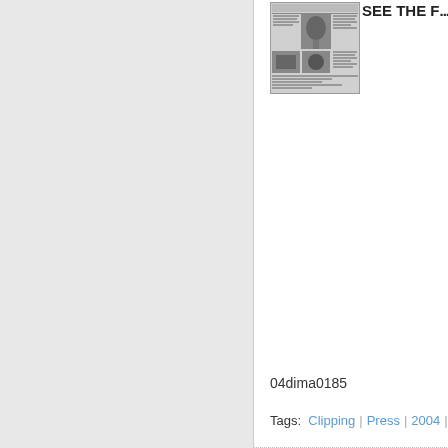[Figure (screenshot): Thumbnail of a newspaper clipping page showing multiple photos of what appears to be a water tower or similar structure, black and white images]
SEE THE F...
04dima0185
Tags: Clipping | Press | 2004 | Te...